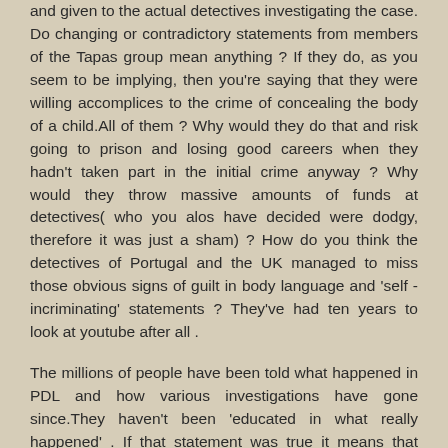and given to the actual detectives investigating the case. Do changing or contradictory statements from members of the Tapas group mean anything ? If they do, as you seem to be implying, then you're saying that they were willing accomplices to the crime of concealing the body of a child.All of them ? Why would they do that and risk going to prison and losing good careers when they hadn't taken part in the initial crime anyway ? Why would they throw massive amounts of funds at detectives( who you alos have decided were dodgy, therefore it was just a sham) ? How do you think the detectives of Portugal and the UK managed to miss those obvious signs of guilt in body language and 'self -incriminating' statements ? They've had ten years to look at youtube after all .
The millions of people have been told what happened in PDL and how various investigations have gone since.They haven't been 'educated in what really happened' . If that statement was true it means that millions of people know what